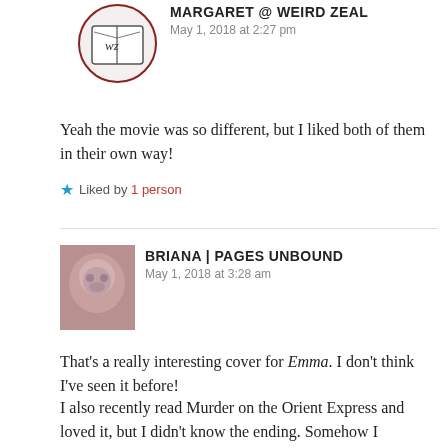MARGARET @ WEIRD ZEAL
May 1, 2018 at 2:27 pm
Yeah the movie was so different, but I liked both of them in their own way!
Liked by 1 person
BRIANA | PAGES UNBOUND
May 1, 2018 at 3:28 am
That's a really interesting cover for Emma. I don't think I've seen it before!
I also recently read Murder on the Orient Express and loved it, but I didn't know the ending. Somehow I managed to avoid spoilers for that!